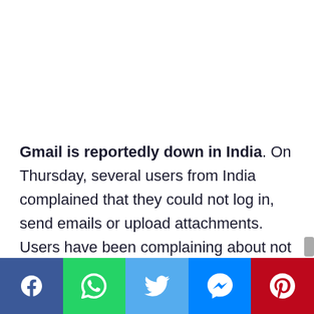Gmail is reportedly down in India. On Thursday, several users from India complained that they could not log in, send emails or upload attachments. Users have been complaining about not being able to send mail or attach files for the past hour.